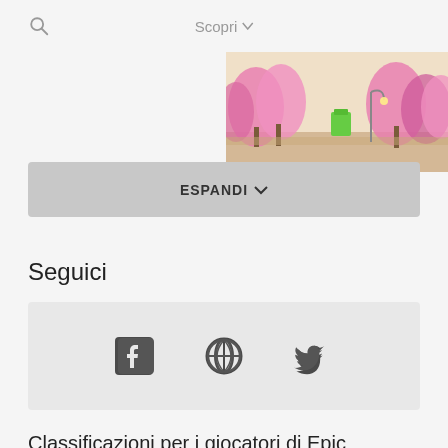Scopri
[Figure (screenshot): Colorful game scene with pink cherry blossom trees and cartoon elements]
ESPANDI
Seguici
[Figure (infographic): Social media icons: Facebook, Globe/Web, Twitter]
Classificazioni per i giocatori di Epic